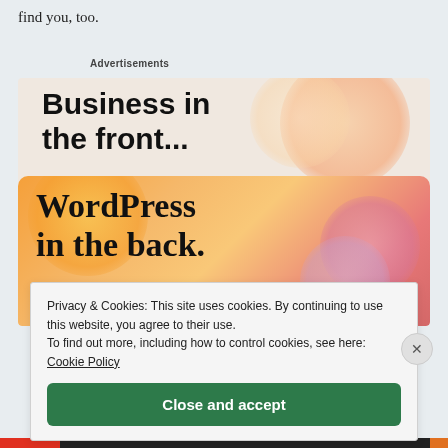find you, too.
Advertisements
[Figure (illustration): Advertisement banner. Top section shows bold text 'Business in the front...' on a light peach background with warm blobs. Bottom section shows 'WordPress in the back.' in serif bold on an orange-to-pink gradient background with colorful circular blobs.]
Privacy & Cookies: This site uses cookies. By continuing to use this website, you agree to their use.
To find out more, including how to control cookies, see here: Cookie Policy
Close and accept